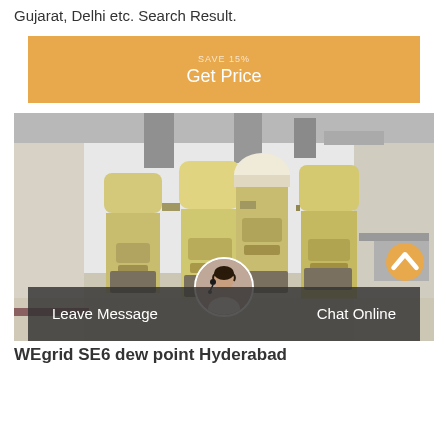Gujarat, Delhi etc. Search Result.
[Figure (other): Orange 'Get Price' button with small label above]
[Figure (photo): Industrial grain processing / milling machines (yellow/cream colored units) inside a factory building with white walls and ventilation ducts]
Leave Message
Chat Online
WEgrid SE6 dew point Hyderabad